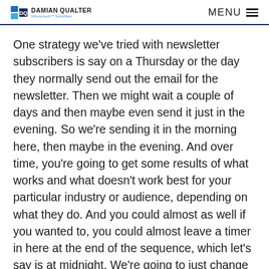DAMIAN QUALTER | Infusionsoft™ Simplified | MENU
One strategy we've tried with newsletter subscribers is say on a Thursday or the day they normally send out the email for the newsletter. Then we might wait a couple of days and then maybe even send it just in the evening. So we're sending it in the morning here, then maybe in the evening. And over time, you're going to get some results of what works and what doesn't work best for your particular industry or audience, depending on what they do. And you could almost as well if you wanted to, you could almost leave a timer in here at the end of the sequence, which let's say is at midnight. We're going to just change that to 11:45 PM.